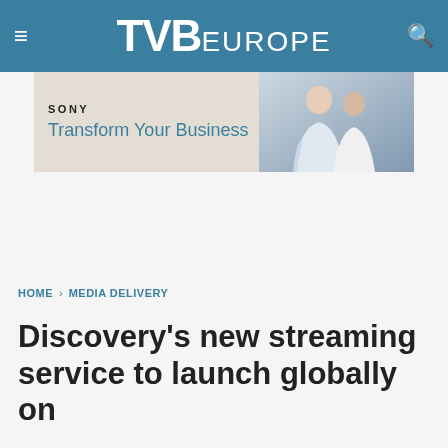TVB EUROPE
[Figure (photo): Sony advertisement banner with text 'SONY Transform Your Business' and image of business people on the right]
HOME › MEDIA DELIVERY
Discovery's new streaming service to launch globally on